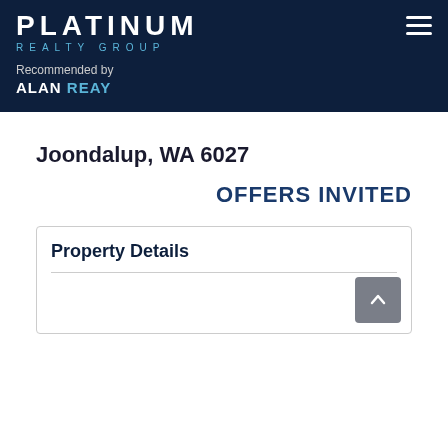[Figure (logo): Platinum Realty Group logo with white PLATINUM text and blue REALTY GROUP text on dark navy background]
Recommended by
ALAN REAY
Joondalup, WA 6027
OFFERS INVITED
Property Details